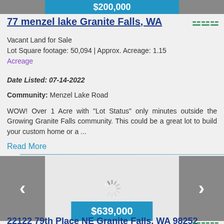[Figure (screenshot): Top navigation bar with gray arrows and blue price bar (partially visible, price cropped)]
77 menzel lake Granite Falls, WA
Vacant Land for Sale
Lot Square footage: 50,094 | Approx. Acreage: 1.15
Acreage
Date Listed: 07-14-2022
Community: Menzel Lake Road
WOW! Over 1 Acre with "Lot Status" only minutes outside the Growing Granite Falls community. This could be a great lot to build your custom home or a ...
Read More
[Figure (screenshot): Image carousel with gray left/right arrow buttons, loading spinner in center, and blue price bar showing $639,000]
22122 79th Place NE Granite Falls, WA 98252